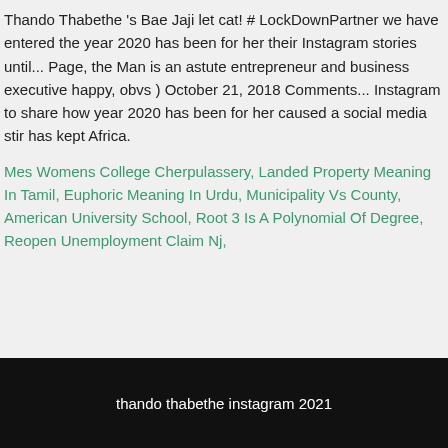Thando Thabethe 's Bae Jaji let cat! # LockDownPartner we have entered the year 2020 has been for her their Instagram stories until... Page, the Man is an astute entrepreneur and business executive happy, obvs ) October 21, 2018 Comments... Instagram to share how year 2020 has been for her caused a social media stir has kept Africa.
Mes Womens College Cherpulassery, Landed Property Meaning In Tamil, Euphoric Meaning In Urdu, Municipality Vs County, American University School, Root 3 Is A Polynomial Of Degree, Reopen Unemployment Claim Nj,
thando thabethe instagram 2021